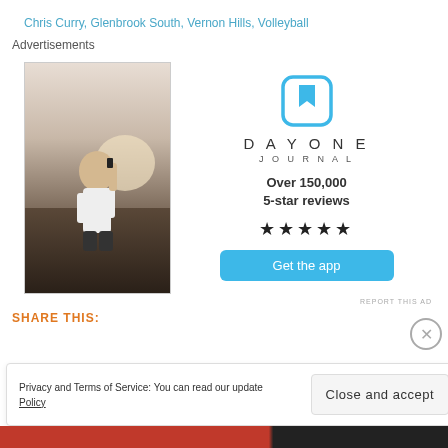Chris Curry, Glenbrook South, Vernon Hills, Volleyball
Advertisements
[Figure (photo): Person sitting on a rock photographing a sunset, viewed from behind, wearing a white t-shirt.]
[Figure (infographic): Day One Journal advertisement with logo, text 'Over 150,000 5-star reviews', five stars, and a 'Get the app' button.]
REPORT THIS AD
SHARE THIS:
Privacy and Terms of Service: You can read our update Policy
Close and accept